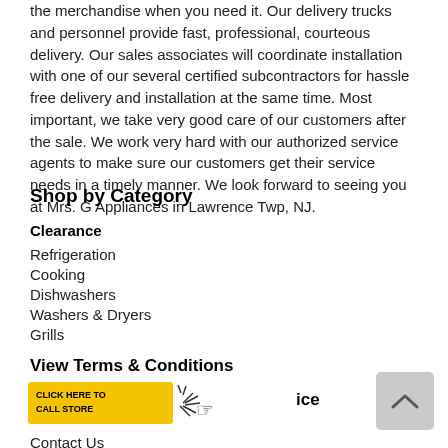the merchandise when you need it. Our delivery trucks and personnel provide fast, professional, courteous delivery. Our sales associates will coordinate installation with one of our several certified subcontractors for hassle free delivery and installation at the same time. Most important, we take very good care of our customers after the sale. We work very hard with our authorized service agents to make sure our customers get their service needs in a timely manner. We look forward to seeing you at Mrs. G Appliances in Lawrence Twp, NJ.
Shop by Category
Clearance
Refrigeration
Cooking
Dishwashers
Washers & Dryers
Grills
View Terms & Conditions
[Figure (other): Yellow button with text CLICK HERE TO CALL STORE and a hand/cursor icon with starburst graphic]
ice
Contact Us